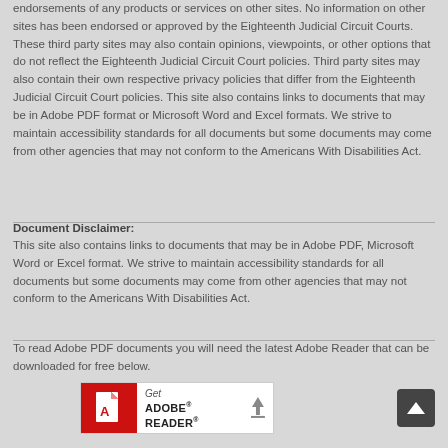endorsements of any products or services on other sites. No information on other sites has been endorsed or approved by the Eighteenth Judicial Circuit Courts. These third party sites may also contain opinions, viewpoints, or other options that do not reflect the Eighteenth Judicial Circuit Court policies. Third party sites may also contain their own respective privacy policies that differ from the Eighteenth Judicial Circuit Court policies. This site also contains links to documents that may be in Adobe PDF format or Microsoft Word and Excel formats. We strive to maintain accessibility standards for all documents but some documents may come from other agencies that may not conform to the Americans With Disabilities Act.
Document Disclaimer:
This site also contains links to documents that may be in Adobe PDF, Microsoft Word or Excel format. We strive to maintain accessibility standards for all documents but some documents may come from other agencies that may not conform to the Americans With Disabilities Act.
To read Adobe PDF documents you will need the latest Adobe Reader that can be downloaded for free below.
[Figure (logo): Get Adobe Reader badge — red and white logo with download arrow]